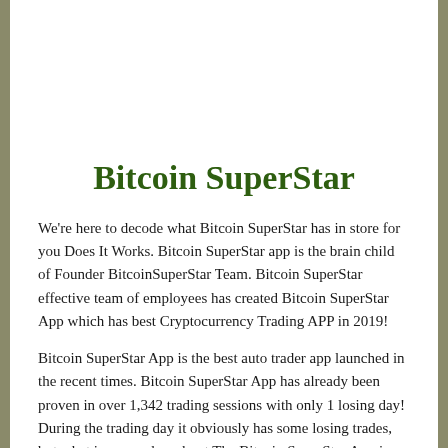Bitcoin SuperStar
We're here to decode what Bitcoin SuperStar has in store for you Does It Works. Bitcoin SuperStar app is the brain child of Founder BitcoinSuperStar Team. Bitcoin SuperStar effective team of employees has created Bitcoin SuperStar App which has best Cryptocurrency Trading APP in 2019!
Bitcoin SuperStar App is the best auto trader app launched in the recent times. Bitcoin SuperStar App has already been proven in over 1,342 trading sessions with only 1 losing day! During the trading day it obviously has some losing trades, but what impressed us about The Bitcoin SuperStar App is that it has